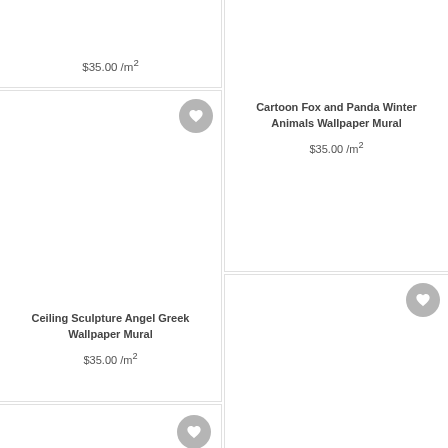$35.00 /m²
Cartoon Fox and Panda Winter Animals Wallpaper Mural
$35.00 /m²
[Figure (illustration): Product card image area (blank/white) for Ceiling Sculpture Angel Greek Wallpaper Mural]
Ceiling Sculpture Angel Greek Wallpaper Mural
$35.00 /m²
[Figure (illustration): Product card image area (blank/white) for Vintage Eiffel Tower City Landscape Wallpaper Mural]
Vintage Eiffel Tower City Landscape Wallpaper Mural
$35.00 /m²
[Figure (illustration): Product card image area (partial, bottom-left card)]
[Figure (illustration): Product card image area (partial, bottom-right card)]